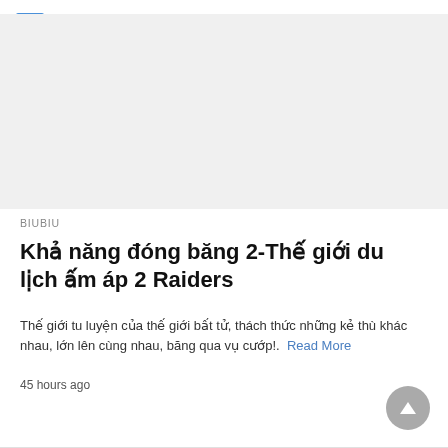...
[Figure (photo): Large image placeholder area (light gray background), likely an article thumbnail image]
BIUBIU
Khả năng đóng băng 2-Thế giới du lịch ấm áp 2 Raiders
Thế giới tu luyện của thế giới bất tử, thách thức những kẻ thù khác nhau, lớn lên cùng nhau, băng qua vụ cướp!. Read More
45 hours ago